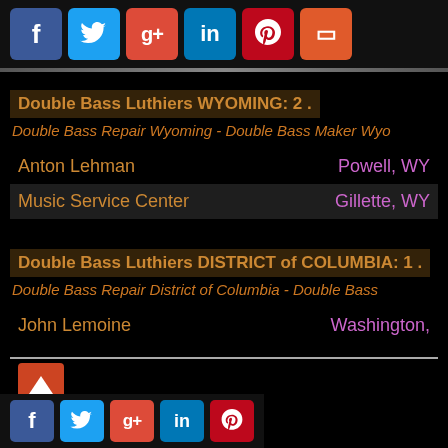[Figure (other): Social media share buttons: Facebook, Twitter, Google+, LinkedIn, Pinterest, and a bookmark/share icon]
Double Bass Luthiers WYOMING: 2 .
Double Bass Repair Wyoming - Double Bass Maker Wyo
| Name | Location |
| --- | --- |
| Anton Lehman | Powell, WY |
| Music Service Center | Gillette, WY |
Double Bass Luthiers DISTRICT of COLUMBIA: 1 .
Double Bass Repair District of Columbia - Double Bass
John Lemoine                                Washington,
[Figure (other): Scroll to top button with upward arrow]
[Figure (other): Social media share buttons at footer: Facebook, Twitter, Google+, LinkedIn, Pinterest]